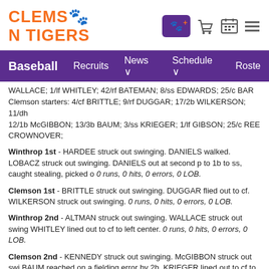CLEMSON TIGERS
Baseball   Recruits   News   Schedule   Roste
WALLACE; 1/lf WHITLEY; 42/rf BATEMAN; 8/ss EDWARDS; 25/c DANIELS... Clemson starters: 4/cf BRITTLE; 9/rf DUGGAR; 17/2b WILKERSON; 11/dh 12/1b McGIBBON; 13/3b BAUM; 3/ss KRIEGER; 1/lf GIBSON; 25/c REEDER CROWNOVER;
Winthrop 1st - HARDEE struck out swinging. DANIELS walked. LOBACZ out swinging. DANIELS out at second p to 1b to ss, caught stealing, picked o 0 runs, 0 hits, 0 errors, 0 LOB.
Clemson 1st - BRITTLE struck out swinging. DUGGAR flied out to cf. WILKERSON struck out swinging. 0 runs, 0 hits, 0 errors, 0 LOB.
Winthrop 2nd - ALTMAN struck out swinging. WALLACE struck out swinging. WHITLEY lined out to cf to left center. 0 runs, 0 hits, 0 errors, 0 LOB.
Clemson 2nd - KENNEDY struck out swinging. McGIBBON struck out swinging. BAUM reached on a fielding error by 2b. KRIEGER lined out to cf to right center. 0 runs, 0 hits, 1 error, 1 LOB.
Winthrop 3rd - BATEMAN homered down the lf line, RBI. EDWARDS fou